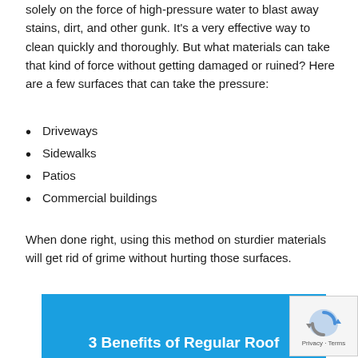solely on the force of high-pressure water to blast away stains, dirt, and other gunk. It's a very effective way to clean quickly and thoroughly. But what materials can take that kind of force without getting damaged or ruined? Here are a few surfaces that can take the pressure:
Driveways
Sidewalks
Patios
Commercial buildings
When done right, using this method on sturdier materials will get rid of grime without hurting those surfaces.
[Figure (other): Blue banner image with bold white text reading '3 Benefits of Regular Roof', with a CAPTCHA widget overlay in the bottom-right corner showing a reCAPTCHA icon and 'Privacy · Terms' text.]